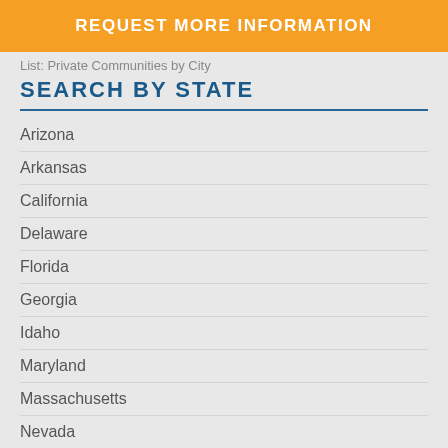REQUEST MORE INFORMATION
List: Private Communities by City
SEARCH BY STATE
Arizona
Arkansas
California
Delaware
Florida
Georgia
Idaho
Maryland
Massachusetts
Nevada
New Hampshire
North Carolina
Ohio